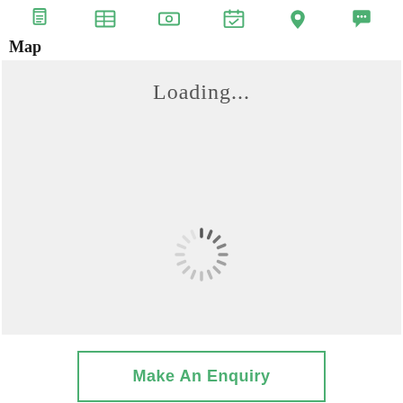[Figure (screenshot): Navigation bar with six green icons: document, list/table, money/payment, calendar/check, map pin, chat/speech bubble]
Map
[Figure (screenshot): Light gray map loading area showing 'Loading...' text at top and an animated spinner (circular dashes) in the center-lower area]
Make An Enquiry